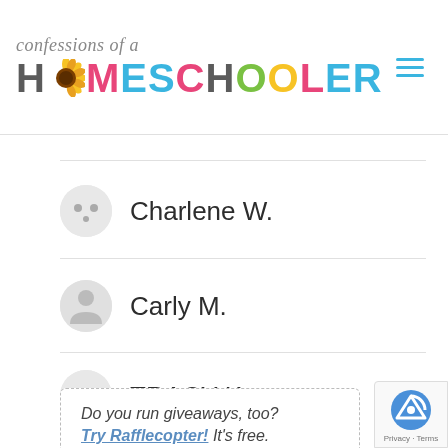confessions of a HOMESCHOOLER
Charlene W.
Carly M.
TRACY K.
Do you run giveaways, too? Try Rafflecopter! It's free.